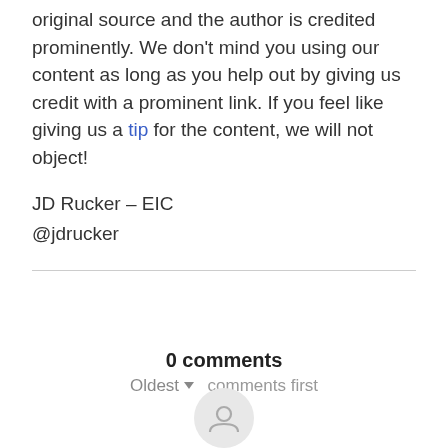original source and the author is credited prominently. We don't mind you using our content as long as you help out by giving us credit with a prominent link. If you feel like giving us a tip for the content, we will not object!
JD Rucker – EIC
@jdrucker
0 comments
Oldest ▾  comments first